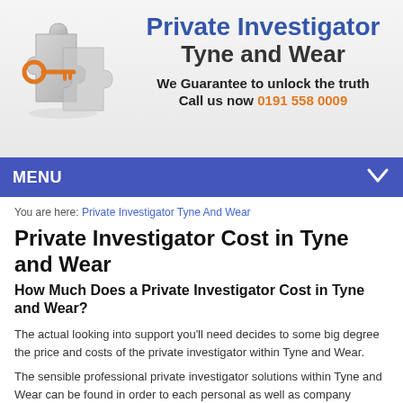[Figure (logo): Puzzle piece with an orange key, logo for Private Investigator Tyne and Wear]
Private Investigator Tyne and Wear
We Guarantee to unlock the truth
Call us now 0191 558 0009
MENU
You are here: Private Investigator Tyne And Wear
Private Investigator Cost in Tyne and Wear
How Much Does a Private Investigator Cost in Tyne and Wear?
The actual looking into support you'll need decides to some big degree the price and costs of the private investigator within Tyne and Wear.
The sensible professional private investigator solutions within Tyne and Wear can be found in order to each personal as well as company customers around Kent in an inexpensive price from Private Investigator Tyne And Wear.